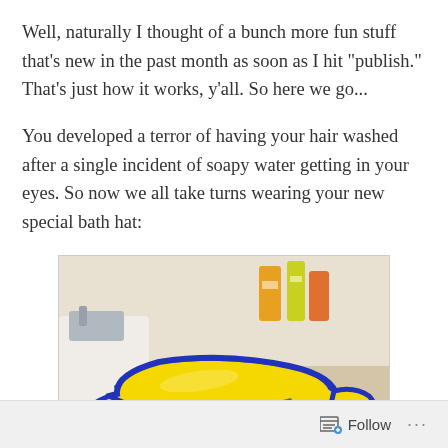Well, naturally I thought of a bunch more fun stuff that's new in the past month as soon as I hit “publish.” That’s just how it works, y’all. So here we go...
You developed a terror of having your hair washed after a single incident of soapy water getting in your eyes. So now we all take turns wearing your new special bath hat:
[Figure (photo): A yellow and blue children's bath visor/hat sitting on a bathroom sink counter. The visor is designed to keep water out of children's eyes during hair washing. It is yellow with blue rubber edging.]
Follow ...